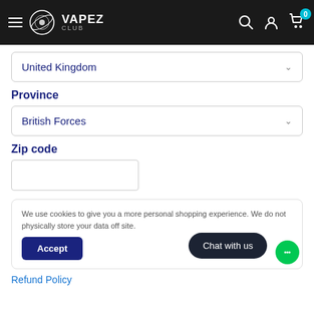VAPEZ CLUB
United Kingdom
Province
British Forces
Zip code
We use cookies to give you a more personal shopping experience. We do not physically store your data off site.
Accept
Chat with us
Refund Policy